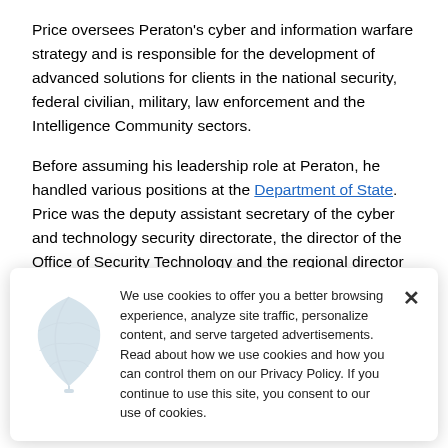Price oversees Peraton's cyber and information warfare strategy and is responsible for the development of advanced solutions for clients in the national security, federal civilian, military, law enforcement and the Intelligence Community sectors.
Before assuming his leadership role at Peraton, he handled various positions at the Department of State. Price was the deputy assistant secretary of the cyber and technology security directorate, the director of the Office of Security Technology and the regional director for security engineering, according to his LinkedIn
We use cookies to offer you a better browsing experience, analyze site traffic, personalize content, and serve targeted advertisements. Read about how we use cookies and how you can control them on our Privacy Policy. If you continue to use this site, you consent to our use of cookies.
Office. He held that position until August 1900.